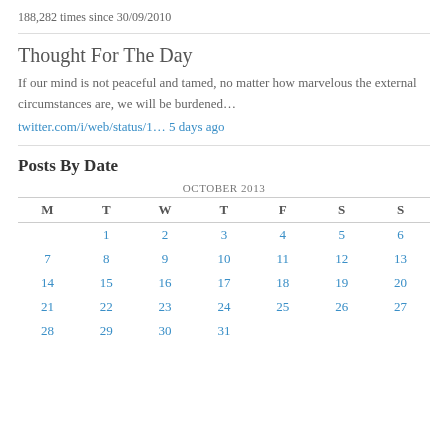188,282 times since 30/09/2010
Thought For The Day
If our mind is not peaceful and tamed, no matter how marvelous the external circumstances are, we will be burdened…
twitter.com/i/web/status/1… 5 days ago
Posts By Date
| M | T | W | T | F | S | S |
| --- | --- | --- | --- | --- | --- | --- |
|  | 1 | 2 | 3 | 4 | 5 | 6 |
| 7 | 8 | 9 | 10 | 11 | 12 | 13 |
| 14 | 15 | 16 | 17 | 18 | 19 | 20 |
| 21 | 22 | 23 | 24 | 25 | 26 | 27 |
| 28 | 29 | 30 | 31 |  |  |  |